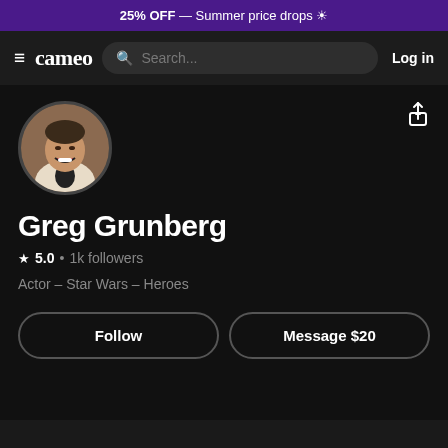25% OFF — Summer price drops 🌞
cameo  Search...  Log in
[Figure (photo): Circular profile photo of Greg Grunberg, smiling with mouth open, wearing a light jacket]
Greg Grunberg
★ 5.0 • 1k followers
Actor – Star Wars – Heroes
Follow
Message $20